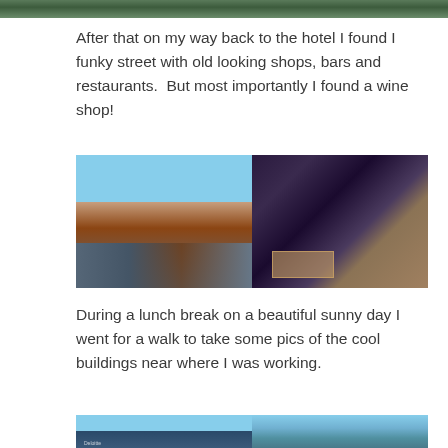[Figure (photo): Partial top edge of a photo, appears to be a green outdoor scene]
After that on my way back to the hotel I found I funky street with old looking shops, bars and restaurants.  But most importantly I found a wine shop!
[Figure (photo): Two side-by-side photos: left shows a funky street with old-looking shops and bars; right shows what appears to be a wine shop entrance with decorative tiled walls and interior lighting]
During a lunch break on a beautiful sunny day I went for a walk to take some pics of the cool buildings near where I was working.
[Figure (photo): Two side-by-side photos partially visible at bottom: left shows a modern glass building (Deloitte) against blue sky; right shows another modern curved glass building against blue sky]